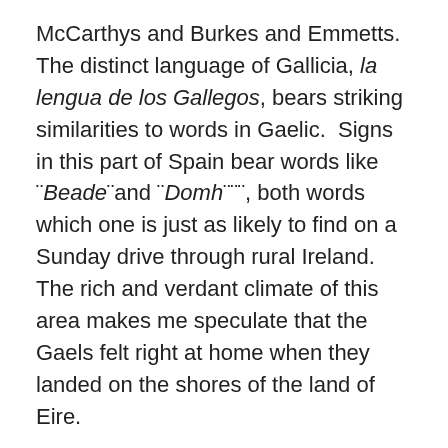McCarthys and Burkes and Emmetts. The distinct language of Gallicia, la lengua de los Gallegos, bears striking similarities to words in Gaelic. Signs in this part of Spain bear words like ¨Beade¨and ¨Domh¨¨¨, both words which one is just as likely to find on a Sunday drive through rural Ireland. The rich and verdant climate of this area makes me speculate that the Gaels felt right at home when they landed on the shores of the land of Eire.
In Ireland, primary students are required to take Gaelic lessons, in hopes that by inundating the next generation, the Gaelic heritage and culture can be preserved and honored. Gallicia is going through much of the same dilemmas, since its language was viciously suppressed during the Franco regime and needs to rebound if it is not going to be absolutely absorbed in popular Spanish.